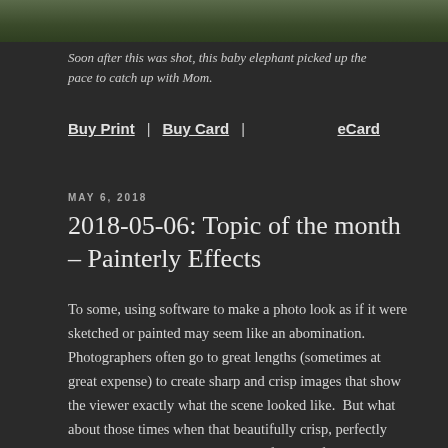[Figure (photo): Top strip of a photo showing grass/savanna, partially cropped at the top of the page]
Soon after this was shot, this baby elephant picked up the pace to catch up with Mom.
Buy Print  |  Buy Card  |                                                    eCard
MAY 6, 2018
2018-05-06: Topic of the month – Painterly Effects
To some, using software to make a photo look as if it were sketched or painted may seem like an abomination.  Photographers often go to great lengths (sometimes at great expense) to create sharp and crisp images that show the viewer exactly what the scene looked like.  But what about those times when that beautifully crisp, perfectly exposed image doesn't convey the feeling of